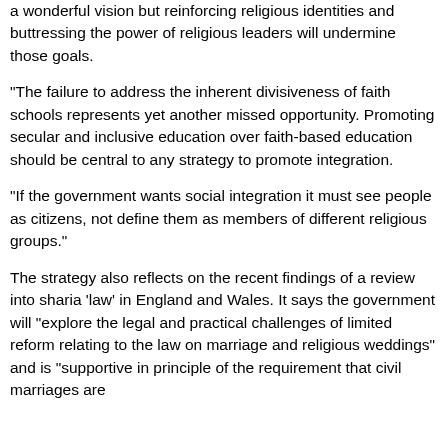a wonderful vision but reinforcing religious identities and buttressing the power of religious leaders will undermine those goals.
"The failure to address the inherent divisiveness of faith schools represents yet another missed opportunity. Promoting secular and inclusive education over faith-based education should be central to any strategy to promote integration.
"If the government wants social integration it must see people as citizens, not define them as members of different religious groups."
The strategy also reflects on the recent findings of a review into sharia 'law' in England and Wales. It says the government will "explore the legal and practical challenges of limited reform relating to the law on marriage and religious weddings" and is "supportive in principle of the requirement that civil marriages are